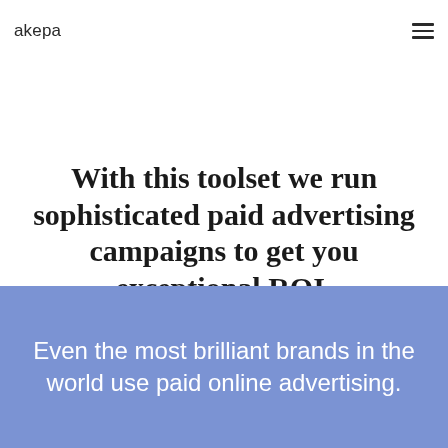akepa
With this toolset we run sophisticated paid advertising campaigns to get you exceptional ROI.
Even the most brilliant brands in the world use paid online advertising.